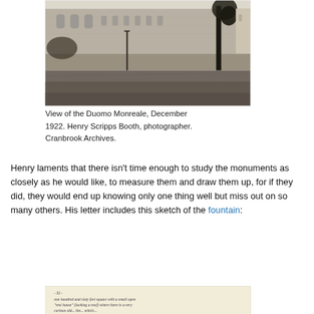[Figure (photo): Black and white photograph of the exterior of Duomo Monreale, showing the stone facade of the cathedral with trees visible on the right side and a lamppost. The ground in the foreground is a wide open paved or dirt area. December 1922.]
View of the Duomo Monreale, December 1922. Henry Scripps Booth, photographer. Cranbrook Archives.
Henry laments that there isn't time enough to study the monuments as closely as he would like, to measure them and draw them up, for if they did, they would end up knowing only one thing well but miss out on so many others. His letter includes this sketch of the fountain:
[Figure (photo): Handwritten sketch/letter excerpt showing cursive handwriting describing a space 'one hundred and sixty feet square with a small open rest house (lacking a roof) where there is a very...']